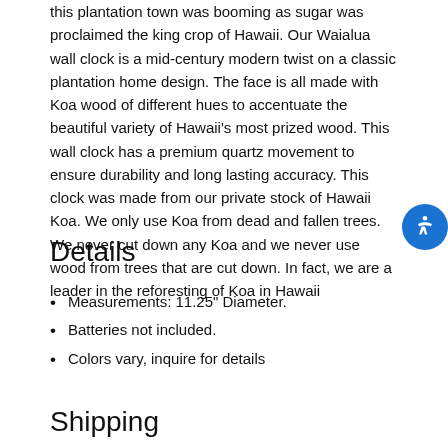this plantation town was booming as sugar was proclaimed the king crop of Hawaii. Our Waialua wall clock is a mid-century modern twist on a classic plantation home design. The face is all made with Koa wood of different hues to accentuate the beautiful variety of Hawaii's most prized wood. This wall clock has a premium quartz movement to ensure durability and long lasting accuracy. This clock was made from our private stock of Hawaii Koa. We only use Koa from dead and fallen trees. We never cut down any Koa and we never use wood from trees that are cut down. In fact, we are a leader in the reforesting of Koa in Hawaii
Details
Measurements: 11.25" Diameter.
Batteries not included.
Colors vary, inquire for details
Shipping